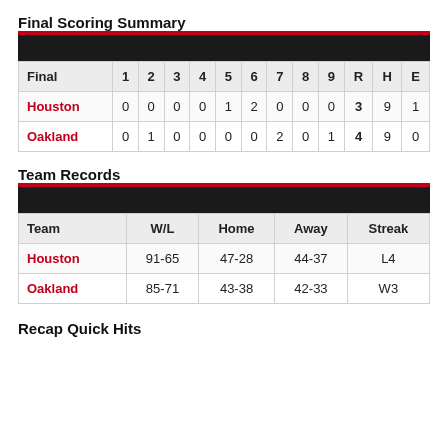Final Scoring Summary
| Final | 1 | 2 | 3 | 4 | 5 | 6 | 7 | 8 | 9 | R | H | E |
| --- | --- | --- | --- | --- | --- | --- | --- | --- | --- | --- | --- | --- |
| Houston | 0 | 0 | 0 | 0 | 1 | 2 | 0 | 0 | 0 | 3 | 9 | 1 |
| Oakland | 0 | 1 | 0 | 0 | 0 | 0 | 2 | 0 | 1 | 4 | 9 | 0 |
Team Records
| Team | W/L | Home | Away | Streak |
| --- | --- | --- | --- | --- |
| Houston | 91-65 | 47-28 | 44-37 | L4 |
| Oakland | 85-71 | 43-38 | 42-33 | W3 |
Recap Quick Hits